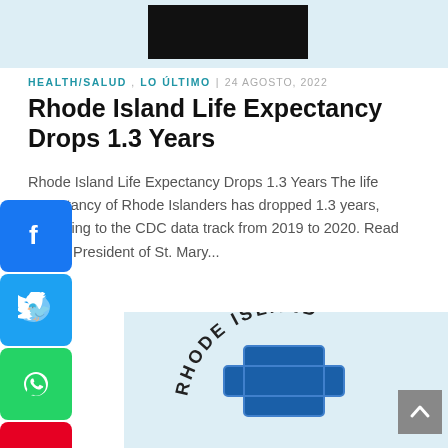[Figure (other): Top banner with black rectangle (likely redacted advertisement or logo)]
HEALTH/SALUD , LO ÚLTIMO  |  24 AGOSTO, 2022
Rhode Island Life Expectancy Drops 1.3 Years
Rhode Island Life Expectancy Drops 1.3 Years The life expectancy of Rhode Islanders has dropped 1.3 years, according to the CDC data track from 2019 to 2020. Read more.  President of St. Mary...
[Figure (logo): Rhode Island logo with blue cross and text reading RHODE ISLAND around the circle arc]